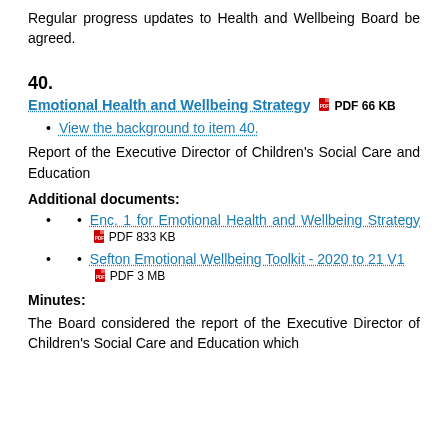Regular progress updates to Health and Wellbeing Board be agreed.
40.
Emotional Health and Wellbeing Strategy  PDF 66 KB
View the background to item 40.
Report of the Executive Director of Children's Social Care and Education
Additional documents:
Enc. 1 for Emotional Health and Wellbeing Strategy  PDF 833 KB
Sefton Emotional Wellbeing Toolkit - 2020 to 21 V1  PDF 3 MB
Minutes:
The Board considered the report of the Executive Director of Children's Social Care and Education which